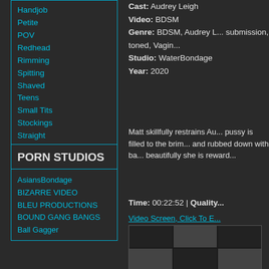Handjob
Petite
POV
Redhead
Rimming
Spitting
Shaved
Teens
Small Tits
Stockings
Straight
Teen
Tattoo
Toys
PORN STUDIOS
AsiansBondage
BIZARRE VIDEO
BLEU PRODUCTIONS
BOUND GANG BANGS
Ball Gagger
Cast: Audrey Leigh
Video: BDSM
Genre: BDSM, Audrey L... submission, toned, Vagin...
Studio: WaterBondage
Year: 2020
Matt skillfully restrains Au... pussy is filled to the brim... and rubbed down with ba... beautifully she is reward...
Time: 00:22:52 | Quality...
Video Screen, Click To E...
[Figure (photo): Grid of video thumbnails showing bondage scenes]